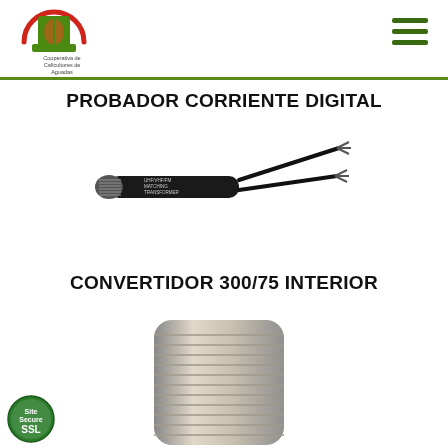[Figure (logo): Cooperativa de Caficultores de Aguadas logo — green house/coffee bean emblem with red arc, text below reading 'Cooperativa de Caficultores de Aguadas']
PROBADOR CORRIENTE DIGITAL
[Figure (photo): Black cylindrical device (UHF/VHF/FM Matching Transformer) with two thin black cables extending from the right end, each ending in small connectors/prongs]
CONVERTIDOR 300/75 INTERIOR
[Figure (photo): Metallic silver coaxial F-type connector adapter, partially visible from the top, showing threaded barrel]
[Figure (logo): SSL security badge — green circular seal with 'SSL' text and 'Site Secure' label]